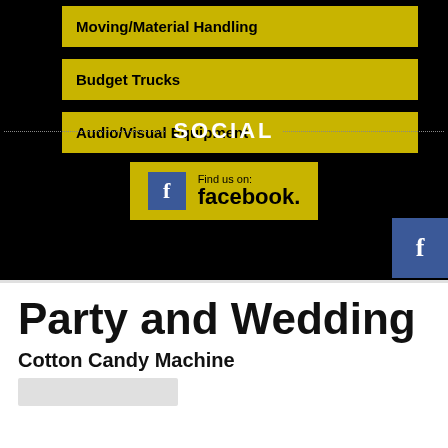Moving/Material Handling
Budget Trucks
Audio/Visual Equipment
SOCIAL
[Figure (logo): Find us on Facebook badge with yellow background, Facebook icon and text]
Party and Wedding
Cotton Candy Machine
[Figure (photo): Partial image of cotton candy machine at bottom of page]